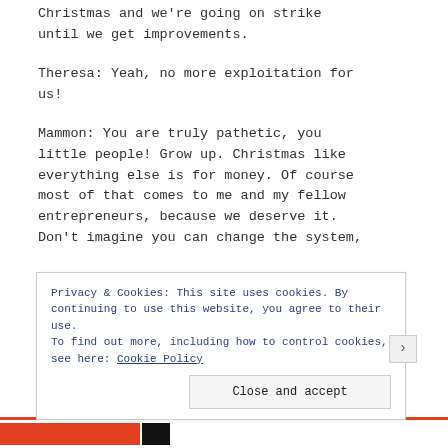Christmas and we're going on strike until we get improvements.
Theresa: Yeah, no more exploitation for us!
Mammon: You are truly pathetic, you little people! Grow up. Christmas like everything else is for money. Of course most of that comes to me and my fellow entrepreneurs, because we deserve it. Don't imagine you can change the system,
Privacy & Cookies: This site uses cookies. By continuing to use this website, you agree to their use. To find out more, including how to control cookies, see here: Cookie Policy
Close and accept